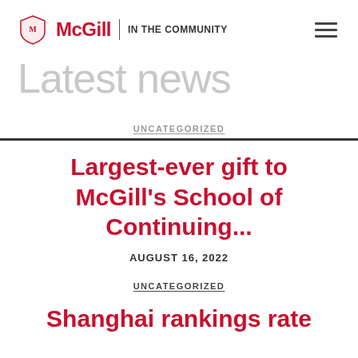McGill | IN THE COMMUNITY
Latest news
UNCATEGORIZED
Largest-ever gift to McGill's School of Continuing...
AUGUST 16, 2022
UNCATEGORIZED
Shanghai rankings rate